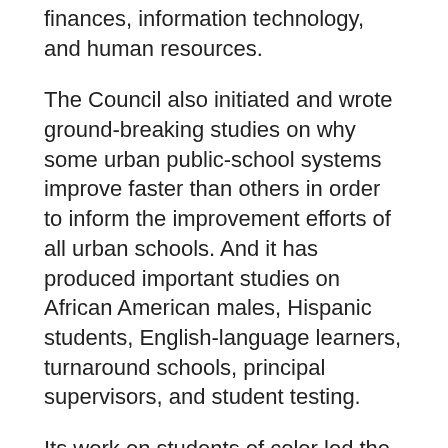finances, information technology, and human resources.
The Council also initiated and wrote ground-breaking studies on why some urban public-school systems improve faster than others in order to inform the improvement efforts of all urban schools. And it has produced important studies on African American males, Hispanic students, English-language learners, turnaround schools, principal supervisors, and student testing.
Its work on students of color led the Council to develop its Pledge for African American Males that was announced by President Barack Obama and became part of the My Brother’s Keeper initiative. The organization's research on over-testing led multiple states and local school systems to rethink their assessment practices.
To back up its academic priorities at the ground level,